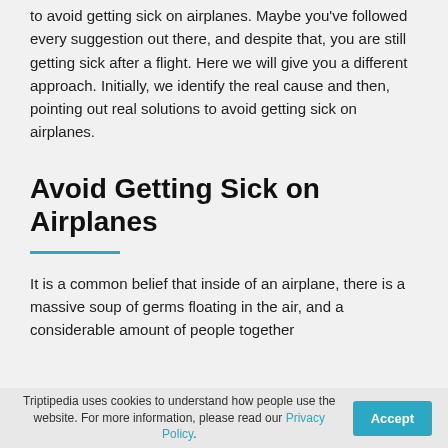Probably you have read lots of articles about how to avoid getting sick on airplanes. Maybe you've followed every suggestion out there, and despite that, you are still getting sick after a flight. Here we will give you a different approach. Initially, we identify the real cause and then, pointing out real solutions to avoid getting sick on airplanes.
Avoid Getting Sick on Airplanes
It is a common belief that inside of an airplane, there is a massive soup of germs floating in the air, and a considerable amount of people together
Triptipedia uses cookies to understand how people use the website. For more information, please read our Privacy Policy.